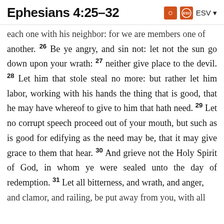Ephesians 4:25–32
each one with his neighbor: for we are members one of another. 26 Be ye angry, and sin not: let not the sun go down upon your wrath: 27 neither give place to the devil. 28 Let him that stole steal no more: but rather let him labor, working with his hands the thing that is good, that he may have whereof to give to him that hath need. 29 Let no corrupt speech proceed out of your mouth, but such as is good for edifying as the need may be, that it may give grace to them that hear. 30 And grieve not the Holy Spirit of God, in whom ye were sealed unto the day of redemption. 31 Let all bitterness, and wrath, and anger, and clamor, and railing, be put away from you, with all